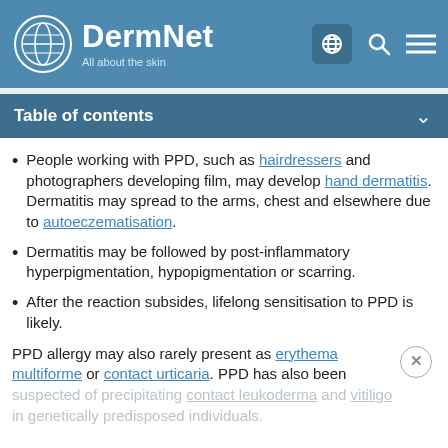DermNet — All about the skin
Table of contents
People working with PPD, such as hairdressers and photographers developing film, may develop hand dermatitis. Dermatitis may spread to the arms, chest and elsewhere due to autoeczematisation.
Dermatitis may be followed by post-inflammatory hyperpigmentation, hypopigmentation or scarring.
After the reaction subsides, lifelong sensitisation to PPD is likely.
PPD allergy may also rarely present as erythema multiforme or contact urticaria. PPD has also been suspected of precipitating contact leukoderma and vitiligo in genetically predisposed individuals.